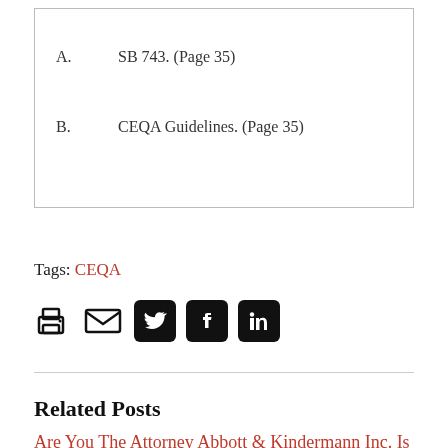A.   SB 743. (Page 35)
B.   CEQA Guidelines. (Page 35)
Tags: CEQA
[Figure (other): Social sharing icons: print, email, Twitter, Facebook, LinkedIn]
Related Posts
Are You The Attorney Abbott & Kindermann Inc. Is